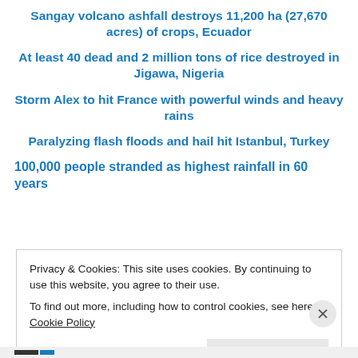Sangay volcano ashfall destroys 11,200 ha (27,670 acres) of crops, Ecuador
At least 40 dead and 2 million tons of rice destroyed in Jigawa, Nigeria
Storm Alex to hit France with powerful winds and heavy rains
Paralyzing flash floods and hail hit Istanbul, Turkey
100,000 people stranded as highest rainfall in 60 years
Privacy & Cookies: This site uses cookies. By continuing to use this website, you agree to their use.
To find out more, including how to control cookies, see here: Cookie Policy